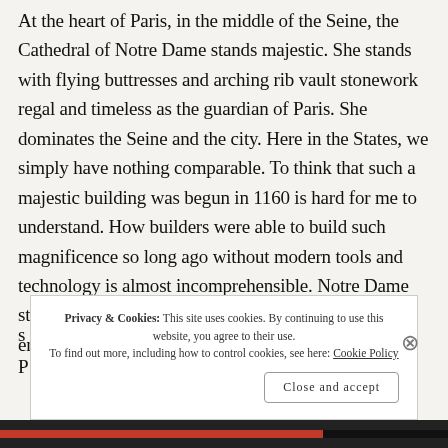At the heart of Paris, in the middle of the Seine, the Cathedral of Notre Dame stands majestic. She stands with flying buttresses and arching rib vault stonework regal and timeless as the guardian of Paris. She dominates the Seine and the city. Here in the States, we simply have nothing comparable. To think that such a majestic building was begun in 1160 is hard for me to understand. How builders were able to build such magnificence so long ago without modern tools and technology is almost incomprehensible. Notre Dame stands through the ages as a testament to human engineering and ingenuity. She s... P...
Privacy & Cookies: This site uses cookies. By continuing to use this website, you agree to their use.
To find out more, including how to control cookies, see here: Cookie Policy
Close and accept